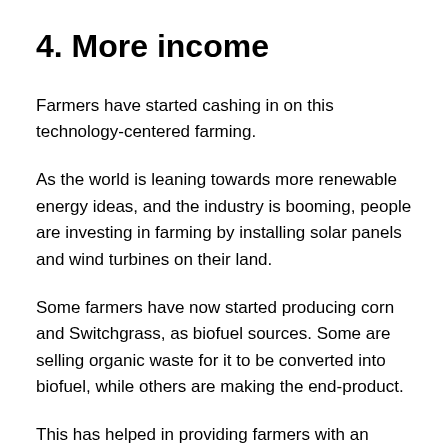4. More income
Farmers have started cashing in on this technology-centered farming.
As the world is leaning towards more renewable energy ideas, and the industry is booming, people are investing in farming by installing solar panels and wind turbines on their land.
Some farmers have now started producing corn and Switchgrass, as biofuel sources. Some are selling organic waste for it to be converted into biofuel, while others are making the end-product.
This has helped in providing farmers with an